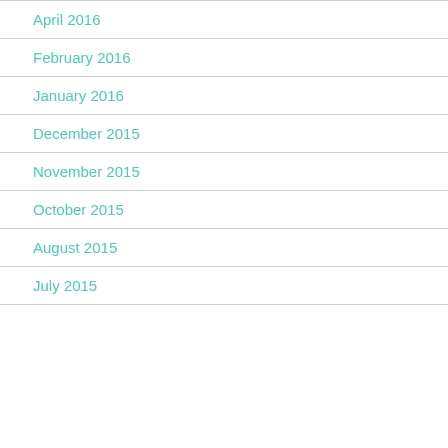April 2016
February 2016
January 2016
December 2015
November 2015
October 2015
August 2015
July 2015